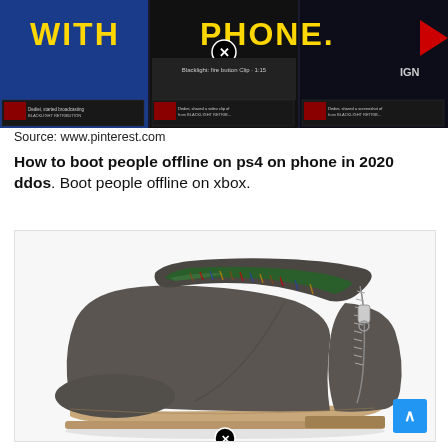[Figure (screenshot): Screenshot of a YouTube or gaming video page showing 'WITH PHONE' text in yellow on dark background, with video thumbnails of Blacklight Retribution gameplay and IGN logo]
Source: www.pinterest.com
How to boot people offline on ps4 on phone in 2020 ddos. Boot people offline on xbox.
[Figure (photo): Photo of a gray suede ankle boot with side zipper on white background]